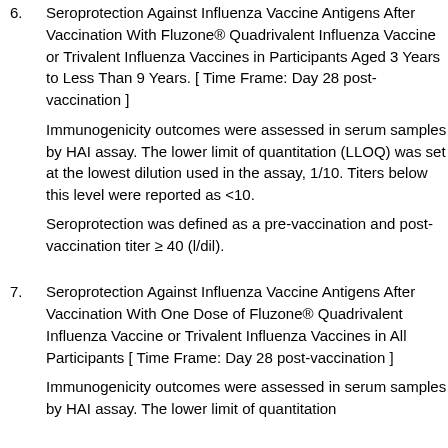6. Seroprotection Against Influenza Vaccine Antigens After Vaccination With Fluzone® Quadrivalent Influenza Vaccine or Trivalent Influenza Vaccines in Participants Aged 3 Years to Less Than 9 Years. [ Time Frame: Day 28 post-vaccination ]
Immunogenicity outcomes were assessed in serum samples by HAI assay. The lower limit of quantitation (LLOQ) was set at the lowest dilution used in the assay, 1/10. Titers below this level were reported as <10.
Seroprotection was defined as a pre-vaccination and post-vaccination titer ≥ 40 (l/dil).
7. Seroprotection Against Influenza Vaccine Antigens After Vaccination With One Dose of Fluzone® Quadrivalent Influenza Vaccine or Trivalent Influenza Vaccines in All Participants [ Time Frame: Day 28 post-vaccination ]
Immunogenicity outcomes were assessed in serum samples by HAI assay. The lower limit of quantitation